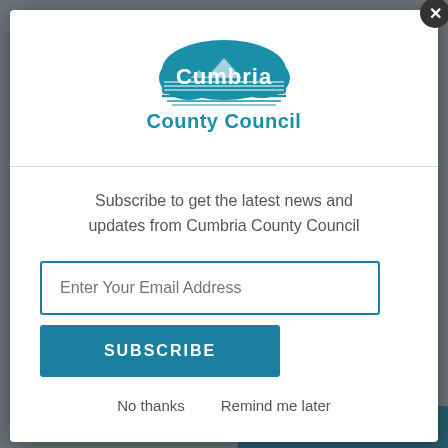[Figure (screenshot): Cumbria County Council newsletter subscription modal dialog over a dimmed page background. The modal contains the Cumbria County Council logo at top, a subscription prompt, an email input field, a SUBSCRIBE button, and No thanks / Remind me later links. Background shows partial text about Citizen's Advice Allerdale and a 'Cumbria Children's Book Week' heading.]
Subscribe to get the latest news and updates from Cumbria County Council
Enter Your Email Address
SUBSCRIBE
No thanks
Remind me later
10.00am, 11.00am and 1.00pm. To book please ring Citizen's Advice Allerdale on 01900 604735
Cumbria Children's Book Week l